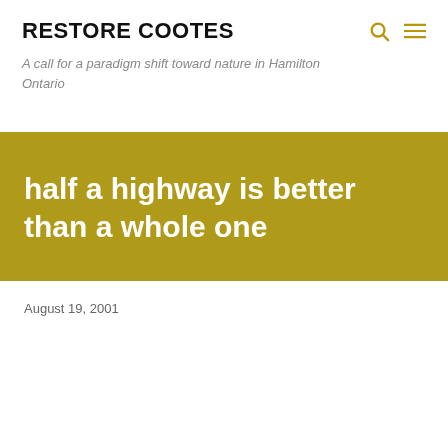RESTORE COOTES
A call for a paradigm shift toward nature in Hamilton Ontario
half a highway is better than a whole one
August 19, 2001